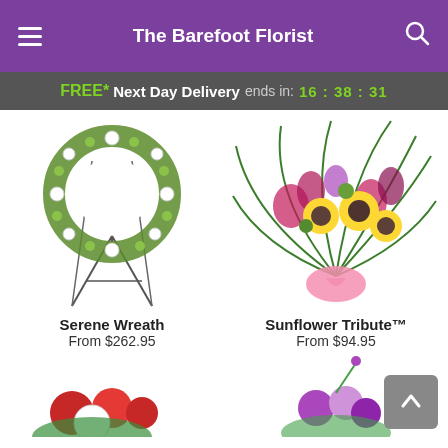The Barefoot Florist
FREE* Next Day Delivery ends in: 16:38:31
[Figure (photo): Serene Wreath – a circular floral wreath with white carnations and green flowers on a metal easel stand]
Serene Wreath
From $262.95
[Figure (photo): Sunflower Tribute – a large colorful floral spray with sunflowers, pink orchids, and green flowers on palm leaves with a pink ribbon]
Sunflower Tribute™
From $94.95
[Figure (photo): Partial view of a red and white floral arrangement at the bottom left]
[Figure (photo): Partial view of a pink and purple floral arrangement at the bottom right]